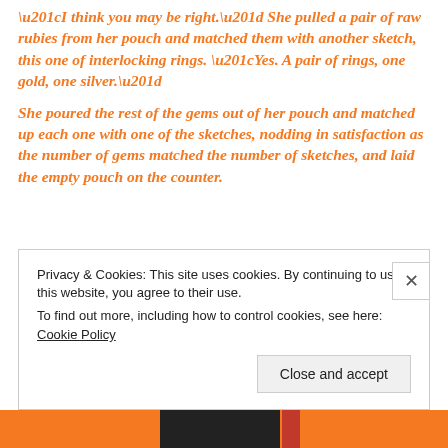“I think you may be right.” She pulled a pair of raw rubies from her pouch and matched them with another sketch, this one of interlocking rings. “Yes. A pair of rings, one gold, one silver.”
She poured the rest of the gems out of her pouch and matched up each one with one of the sketches, nodding in satisfaction as the number of gems matched the number of sketches, and laid the empty pouch on the counter.
Privacy & Cookies: This site uses cookies. By continuing to use this website, you agree to their use.
To find out more, including how to control cookies, see here: Cookie Policy